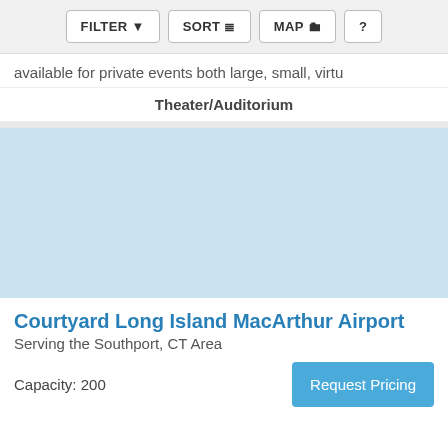FILTER   SORT   MAP   ?
available for private events both large, small, virtu
Theater/Auditorium
[Figure (map): Light blue map placeholder area showing a geographic map view]
Courtyard Long Island MacArthur Airport
Serving the Southport, CT Area
Capacity: 200
Request Pricing